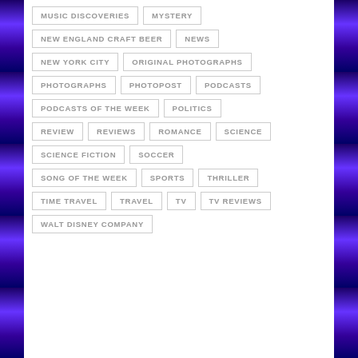MUSIC DISCOVERIES
MYSTERY
NEW ENGLAND CRAFT BEER
NEWS
NEW YORK CITY
ORIGINAL PHOTOGRAPHS
PHOTOGRAPHS
PHOTOPOST
PODCASTS
PODCASTS OF THE WEEK
POLITICS
REVIEW
REVIEWS
ROMANCE
SCIENCE
SCIENCE FICTION
SOCCER
SONG OF THE WEEK
SPORTS
THRILLER
TIME TRAVEL
TRAVEL
TV
TV REVIEWS
WALT DISNEY COMPANY